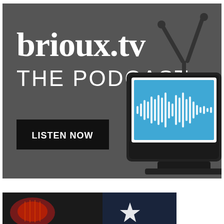[Figure (illustration): brioux.tv The Podcast banner image with dark gray background, large serif bold white text 'brioux.tv' and sans-serif white text 'THE PODCAST', a black 'LISTEN NOW' button, a retro TV set illustration with antenna, and a laptop/tablet showing a blue audio waveform graphic.]
[Figure (photo): Partial photo at bottom of page showing a dark image with red lantern-like shapes on the left and a star on a dark blue/black background on the right, partially cropped.]